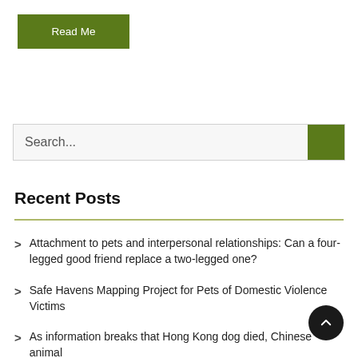[Figure (other): Green 'Read Me' button]
[Figure (other): Search bar with green search button on the right, placeholder text 'Search...']
Recent Posts
Attachment to pets and interpersonal relationships: Can a four-legged good friend replace a two-legged one?
Safe Havens Mapping Project for Pets of Domestic Violence Victims
As information breaks that Hong Kong dog died, Chinese animal